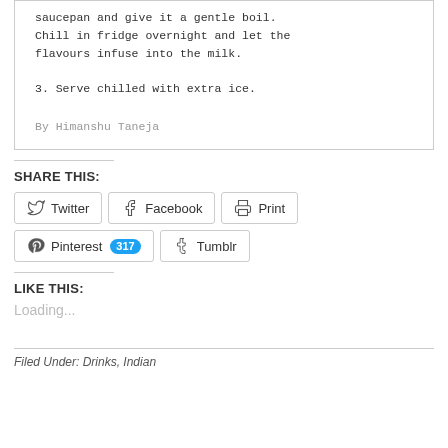saucepan and give it a gentle boil. Chill in fridge overnight and let the flavours infuse into the milk.
3. Serve chilled with extra ice.
By Himanshu Taneja
SHARE THIS:
Twitter Facebook Print Pinterest 317 Tumblr
LIKE THIS:
Loading...
Filed Under: Drinks, Indian